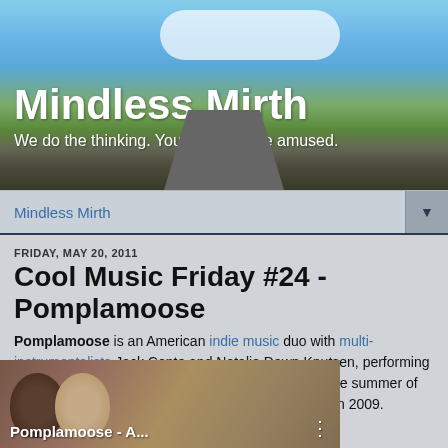[Figure (photo): Blog header banner with a road scene showing blue sky with clouds, green trees, and a road receding into the distance]
Mindless Mirth
We do the thinking. You just sit there amused.
Mindless Mirth
FRIDAY, MAY 20, 2011
Cool Music Friday #24 - Pomplamoose
Pomplamoose is an American indie music duo with multi-instrumentalists Jack Conte and Natalie Dawn Knutsen, performing under the name Nataly Dawn. The band formed in the summer of 2008 and sold approximately 100,000 songs online in 2009.
[Figure (screenshot): Video thumbnail showing two faces and the text 'Pomplamoose - A...' with a menu dots icon]